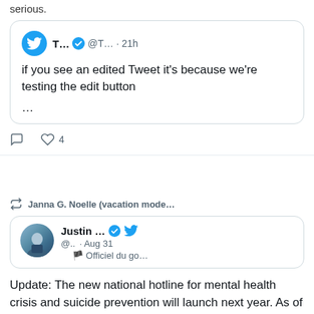serious.
[Figure (screenshot): Embedded tweet from T... (@T...) posted 21h ago: 'if you see an edited Tweet it's because we're testing the edit button ...']
4 likes
[Figure (screenshot): Retweeted by Janna G. Noelle (vacation mode... Inner tweet card showing Justin ... with verified badge and Twitter bird icon, @.. · Aug 31, Officiel du go...]
Update: The new national hotline for mental health crisis and suicide prevention will launch next year. As of November 30th, 2022, you will be able to